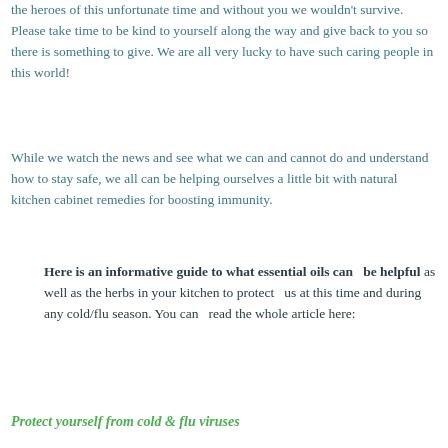the heroes of this unfortunate time and without you we wouldn't survive. Please take time to be kind to yourself along the way and give back to you so there is something to give. We are all very lucky to have such caring people in this world!
While we watch the news and see what we can and cannot do and understand how to stay safe, we all can be helping ourselves a little bit with natural kitchen cabinet remedies for boosting immunity.
Here is an informative guide to what essential oils can be helpful as well as the herbs in your kitchen to protect us at this time and during any cold/flu season. You can read the whole article here:
Protect yourself from cold & flu viruses